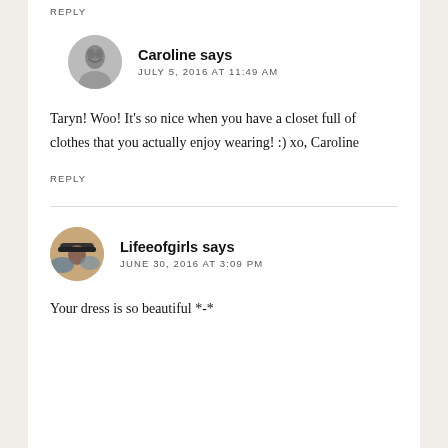REPLY
[Figure (photo): Circular avatar photo of Caroline, black and white portrait of a woman]
Caroline says
JULY 5, 2016 AT 11:49 AM
Taryn! Woo! It's so nice when you have a closet full of clothes that you actually enjoy wearing! :) xo, Caroline
REPLY
[Figure (photo): Circular avatar photo of Lifeeofgirls, person wearing a hat with city skyline in background]
Lifeeofgirls says
JUNE 30, 2016 AT 3:09 PM
Your dress is so beautiful *-*